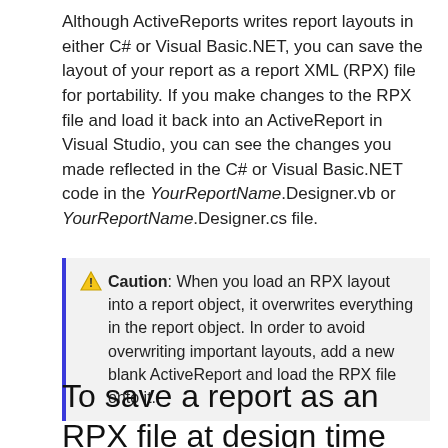Although ActiveReports writes report layouts in either C# or Visual Basic.NET, you can save the layout of your report as a report XML (RPX) file for portability. If you make changes to the RPX file and load it back into an ActiveReport in Visual Studio, you can see the changes you made reflected in the C# or Visual Basic.NET code in the YourReportName.Designer.vb or YourReportName.Designer.cs file.
⚠ Caution: When you load an RPX layout into a report object, it overwrites everything in the report object. In order to avoid overwriting important layouts, add a new blank ActiveReport and load the RPX file onto it.
To save a report as an RPX file at design time